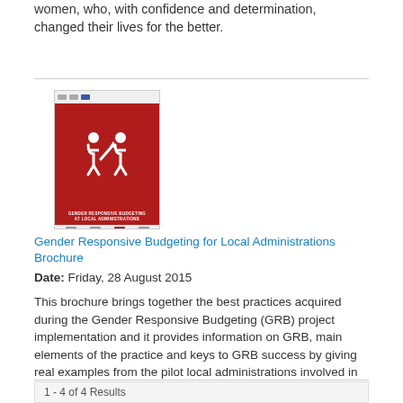women, who, with confidence and determination, changed their lives for the better.
[Figure (illustration): Cover thumbnail of the Gender Responsive Budgeting for Local Administrations Brochure — red background with white GRB logo figures, title text in white, logos at top and bottom.]
Gender Responsive Budgeting for Local Administrations Brochure
Date: Friday, 28 August 2015
This brochure brings together the best practices acquired during the Gender Responsive Budgeting (GRB) project implementation and it provides information on GRB, main elements of the practice and keys to GRB success by giving real examples from the pilot local administrations involved in the Project.
1 - 4 of 4 Results